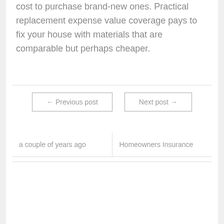cost to purchase brand-new ones. Practical replacement expense value coverage pays to fix your house with materials that are comparable but perhaps cheaper.
← Previous post
Next post →
a couple of years ago
Homeowners Insurance
Related Posts
[Figure (photo): Grayscale photo of a house exterior showing windows on a light-colored wall]